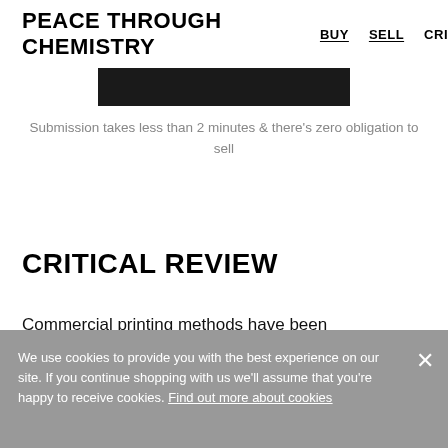PEACE THROUGH CHEMISTRY  BUY  SELL  CRI
[Figure (other): Black rectangular bar / image placeholder]
Submission takes less than 2 minutes & there's zero obligation to sell
CRITICAL REVIEW
Commercial printing methods have been
We use cookies to provide you with the best experience on our site. If you continue shopping with us we'll assume that you're happy to receive cookies. Find out more about cookies